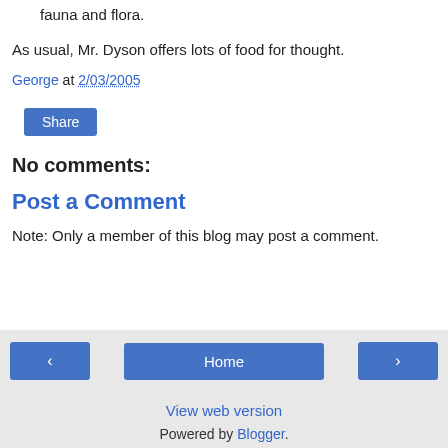fauna and flora.
As usual, Mr. Dyson offers lots of food for thought.
George at 2/03/2005
Share
No comments:
Post a Comment
Note: Only a member of this blog may post a comment.
< Home > View web version Powered by Blogger.